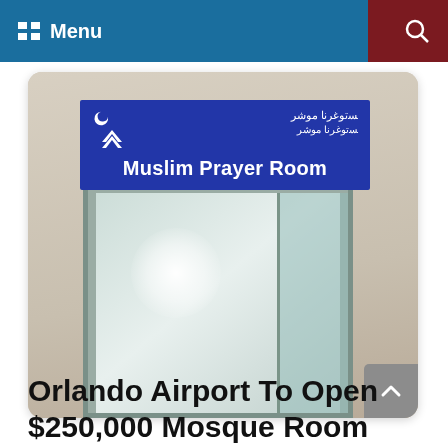Menu
[Figure (photo): A doorway with a blue sign above reading 'Muslim Prayer Room' with Arabic text and a mosque icon. The door has frosted glass panels.]
Orlando Airport To Open $250,000 Mosque Room